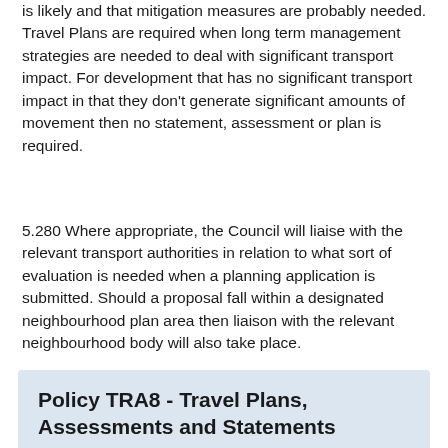is likely and that mitigation measures are probably needed. Travel Plans are required when long term management strategies are needed to deal with significant transport impact. For development that has no significant transport impact in that they don't generate significant amounts of movement then no statement, assessment or plan is required.
5.280 Where appropriate, the Council will liaise with the relevant transport authorities in relation to what sort of evaluation is needed when a planning application is submitted. Should a proposal fall within a designated neighbourhood plan area then liaison with the relevant neighbourhood body will also take place.
Policy TRA8 - Travel Plans, Assessments and Statements